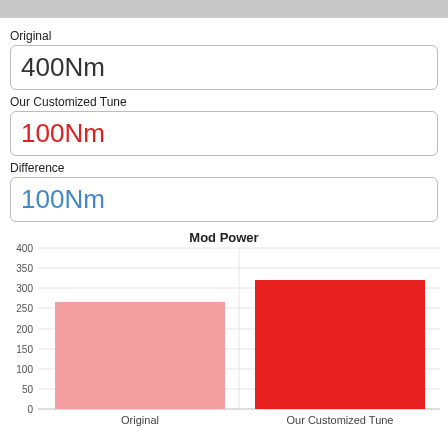Original
400Nm
Our Customized Tune
100Nm
Difference
100Nm
[Figure (bar-chart): Mod Power]